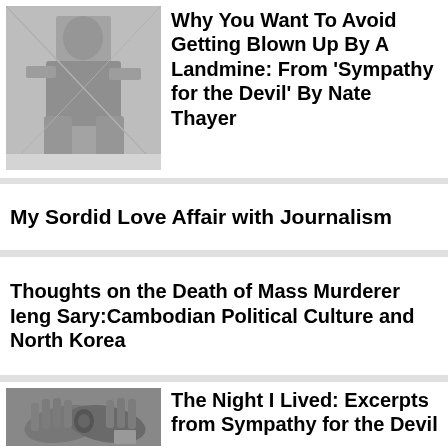[Figure (photo): Black and white photo of a person sitting on a box or crate]
Why You Want To Avoid Getting Blown Up By A Landmine: From 'Sympathy for the Devil' By Nate Thayer
My Sordid Love Affair with Journalism
Thoughts on the Death of Mass Murderer Ieng Sary:Cambodian Political Culture and North Korea
[Figure (photo): Black and white photo of two hands holding a small object]
The Night I Lived: Excerpts from Sympathy for the Devil